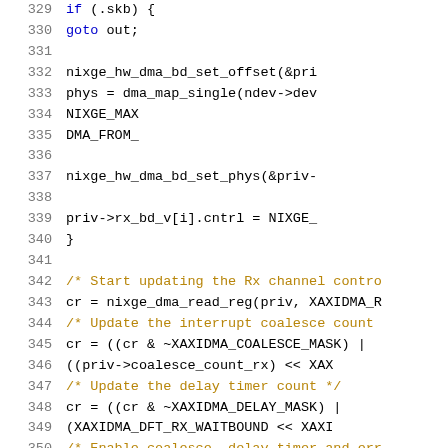Source code listing, lines 329-350, C programming language with syntax highlighting